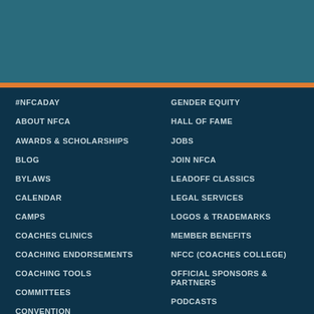#NFCADAY
ABOUT NFCA
AWARDS & SCHOLARSHIPS
BLOG
BYLAWS
CALENDAR
CAMPS
COACHES CLINICS
COACHING ENDORSEMENTS
COACHING TOOLS
COMMITTEES
CONVENTION
DRILLS & VIDEOS
EDUCATION
EVENTS
GENDER EQUITY
HALL OF FAME
JOBS
JOIN NFCA
LEADOFF CLASSICS
LEGAL SERVICES
LOGOS & TRADEMARKS
MEMBER BENEFITS
NFCC (COACHES COLLEGE)
OFFICIAL SPONSORS & PARTNERS
PODCASTS
POLLS
SHOP
STAFF DIRECTORY
STRIKEOUT CANCER